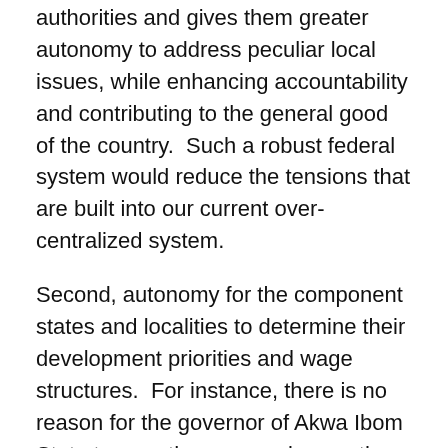authorities and gives them greater autonomy to address peculiar local issues, while enhancing accountability and contributing to the general good of the country.  Such a robust federal system would reduce the tensions that are built into our current over-centralized system.
Second, autonomy for the component states and localities to determine their development priorities and wage structures.  For instance, there is no reason for the governor of Akwa Ibom State to earn the same salary as the Governor of Benue State or for a teacher in Orlu to earn the same salary as the one in Abuja or Port Harcourt. The costs of living and revenue generating capacities vary widely across the country.
Third, a tax-centred revenue base. Modern democracies derive their revenues from taxation whether or not they have fossil fuels and other natural resources – personal income